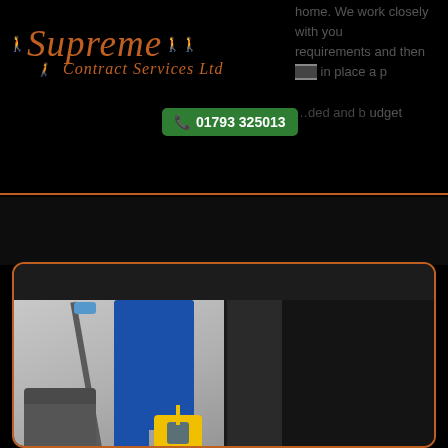Supreme Contract Services Ltd – 01793 325013
home. We work closely with you requirements and then in place a p …ded and b…udget
[Figure (screenshot): Website screenshot showing Supreme Contract Services Ltd header with orange logo on black background, green phone button showing 01793 325013, and a partially visible cleaning professional photo in an orange-bordered card at the bottom.]